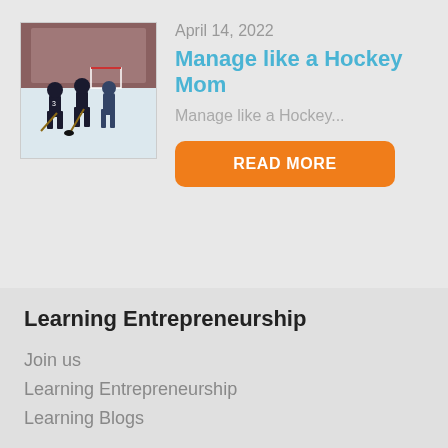[Figure (photo): Ice hockey scene showing young players on the rink]
April 14, 2022
Manage like a Hockey Mom
Manage like a Hockey...
READ MORE
Learning Entrepreneurship
Join us
Learning Entrepreneurship
Learning Blogs